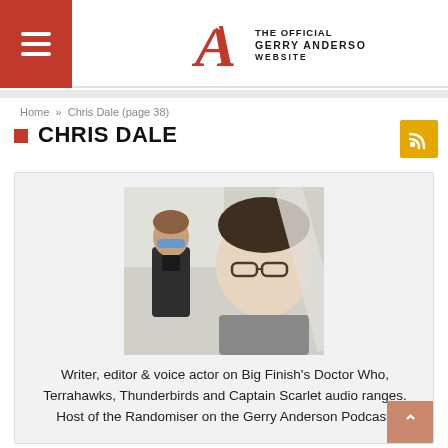The Official Gerry Anderson Website
Home » Chris Dale (page 38)
CHRIS DALE
[Figure (photo): Photo of Chris Dale (a man with glasses) posing with a Thunderbirds puppet/action figure with blue goggles]
Writer, editor & voice actor on Big Finish's Doctor Who, Terrahawks, Thunderbirds and Captain Scarlet audio ranges. Host of the Randomiser on the Gerry Anderson Podcast.